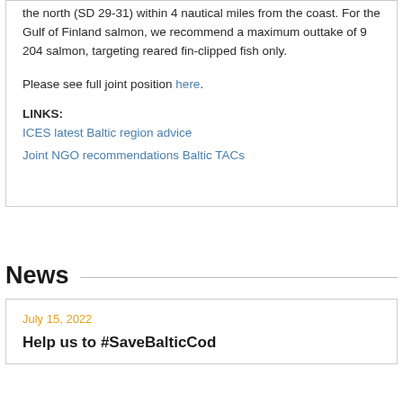the north (SD 29-31) within 4 nautical miles from the coast. For the Gulf of Finland salmon, we recommend a maximum outtake of 9 204 salmon, targeting reared fin-clipped fish only.
Please see full joint position here.
LINKS:
ICES latest Baltic region advice
Joint NGO recommendations Baltic TACs
News
July 15, 2022
Help us to #SaveBalticCod